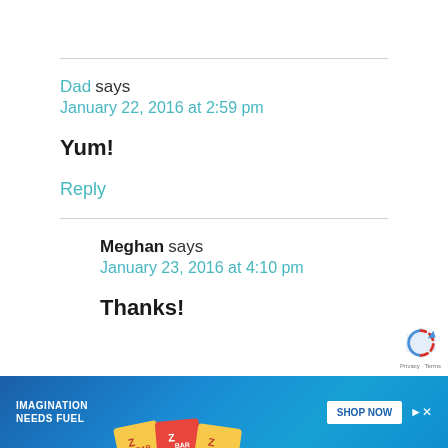Dad says
January 22, 2016 at 2:59 pm
Yum!
Reply
Meghan says
January 23, 2016 at 4:10 pm
Thanks!
[Figure (screenshot): Advertisement banner for Clif Kid ZBar with text 'IMAGINATION NEEDS FUEL' and 'SHOP NOW' button on blue background]